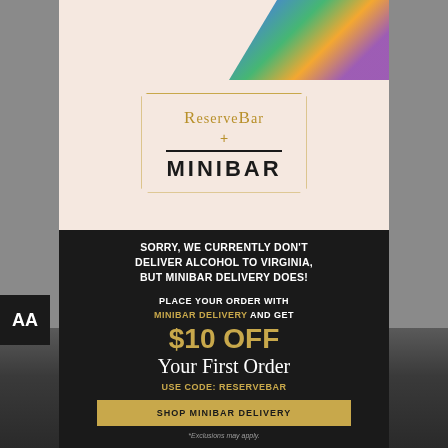The GIRAUD family has headed Maison Giraud for several generations from 1875 to 1990. In 1930, Henri GIRAUD founded a maison de cognac overseen by several generations of his family. His son Alfred GIRAUD, and then his own son Eric Giraud, succeeded him as Cellar Master. The current generation, Jean-Pierre GIRAUD, manages the family estate today. Breaking with tradition, Jean-Pierre GIRAUD, joined a renowned producer to celebrate his heritage, he created
[Figure (screenshot): ReserveBar + Minibar co-branded modal overlay with pink top section showing logos in a gold-bordered octagonal box, and a black bottom section with promotional text offering $10 off first order via Minibar Delivery using code RESERVEBAR, with a SHOP MINIBAR DELIVERY button]
SORRY, WE CURRENTLY DON'T DELIVER ALCOHOL TO VIRGINIA, BUT MINIBAR DELIVERY DOES!
PLACE YOUR ORDER WITH MINIBAR DELIVERY AND GET
$10 OFF Your First Order
USE CODE: RESERVEBAR
SHOP MINIBAR DELIVERY
*Exclusions may apply.